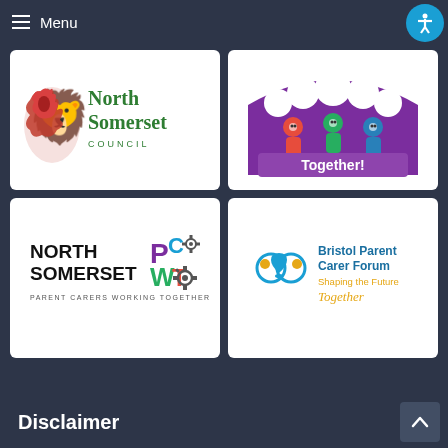Menu
[Figure (logo): North Somerset Council logo with red griffin and green text]
[Figure (logo): Together! logo with purple arch and colored figure icons]
[Figure (logo): North Somerset Parent Carers Working Together (PCWT) logo]
[Figure (logo): Bristol Parent Carer Forum - Shaping the Future Together logo]
Disclaimer